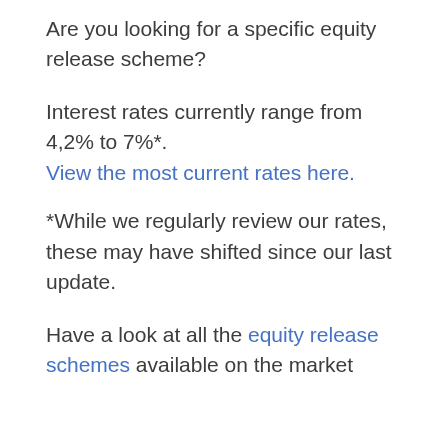Are you looking for a specific equity release scheme?
Interest rates currently range from 4,2% to 7%*.
View the most current rates here.
*While we regularly review our rates, these may have shifted since our last update.
Have a look at all the equity release schemes available on the market